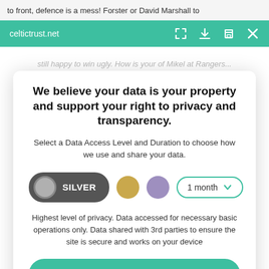to front, defence is a mess! Forster or David Marshall to
celtictrust.net
still happy to win ugly. How is your of Mikel at Rangers...
We believe your data is your property and support your right to privacy and transparency.
Select a Data Access Level and Duration to choose how we use and share your data.
SILVER  ●  ●  1 month ▾
Highest level of privacy. Data accessed for necessary basic operations only. Data shared with 3rd parties to ensure the site is secure and works on your device
Save my preferences
Customize
Privacy policy